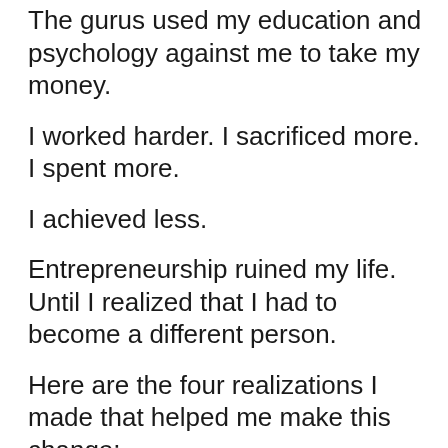The gurus used my education and psychology against me to take my money.
I worked harder. I sacrificed more. I spent more.
I achieved less.
Entrepreneurship ruined my life. Until I realized that I had to become a different person.
Here are the four realizations I made that helped me make this change:
First, there is more than one right answer. Shiny object syndrome comes from the false belief that there is an easy, right way to do things. But there are many right ways